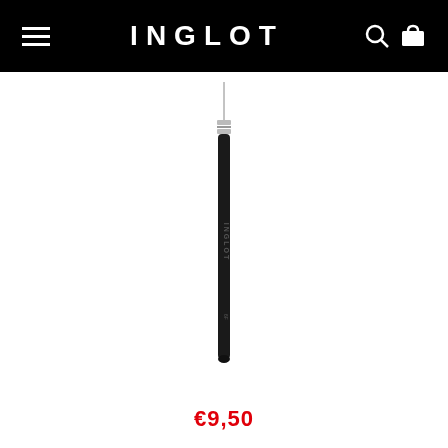INGLOT
[Figure (photo): A single INGLOT makeup brush with a long black handle and a thin pointed tip, photographed vertically against a white background. The brush has a silver ferrule and the INGLOT brand name printed sideways on the handle.]
€9,50